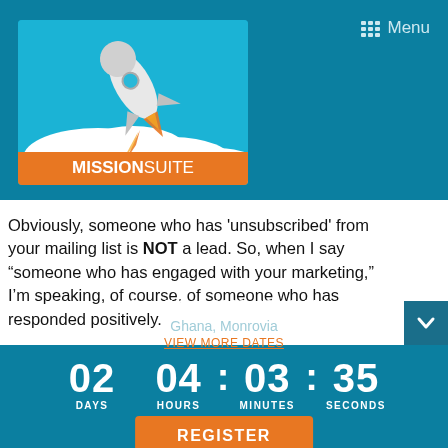[Figure (logo): MissionSuite logo: rocket launching from clouds on blue background, with orange banner reading MISSIONSUITE]
Menu
Obviously, someone who has 'unsubscribed' from your mailing list is NOT a lead. So, when I say “someone who has engaged with your marketing,” I’m speaking, of course, of someone who has responded positively.
Mon, 5 Sep 2022, 10:00 AM
Ghana, Monrovia
VIEW MORE DATES
02  04 : 03 : 35
DAYS  HOURS  MINUTES  SECONDS
REGISTER